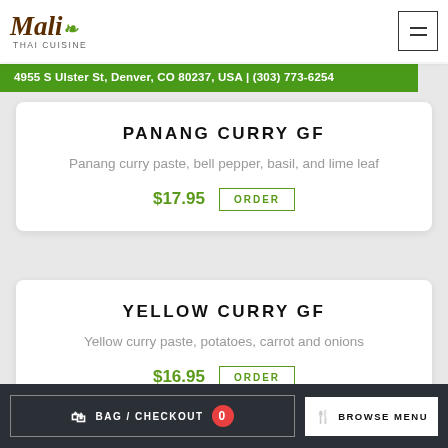Massaman curry paste, potatoes, yellow onions, and roasted peanuts | $16.95 ORDER
[Figure (logo): Mali Thai Cuisine logo with stylized script text and leaf icon]
4955 S Ulster St, Denver, CO 80237, USA | (303) 773-6254
PANANG CURRY GF
Panang curry paste, bell pepper, basil, and lime leaf
$17.95  ORDER
YELLOW CURRY GF
Yellow curry paste, potatoes, carrot and onions
$16.95  ORDER
BAG / CHECKOUT 0  BROWSE MENU